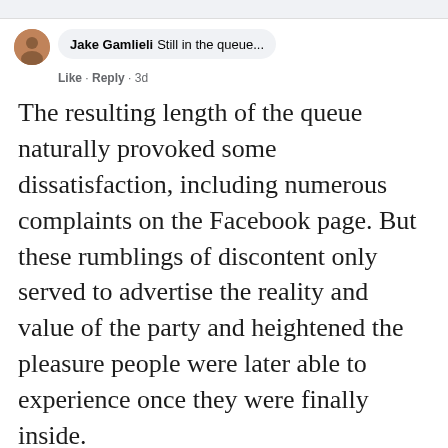[Figure (screenshot): Facebook comment header showing user Jake Gamlieli with profile picture, comment bubble saying 'Still in the queue...', and Like · Reply · 3d metadata]
The resulting length of the queue naturally provoked some dissatisfaction, including numerous complaints on the Facebook page. But these rumblings of discontent only served to advertise the reality and value of the party and heightened the pleasure people were later able to experience once they were finally inside.
An interesting point to note here is that one of the bouncers (Fred) was in Malmo, Sweden; the other, Maz, was at her home in LA. Yet they were able to